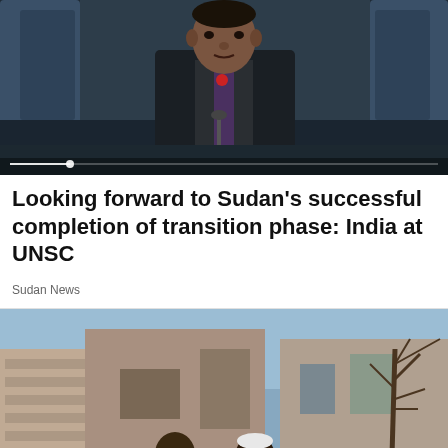[Figure (photo): Man in dark suit and tie speaking at a microphone at what appears to be a UN Security Council meeting, with blue chairs visible in the background]
Looking forward to Sudan's successful completion of transition phase: India at UNSC
Sudan News
[Figure (photo): Two men standing in a war-damaged street scene with destroyed brick buildings, barbed wire on the ground, and bare trees in the background under a blue sky]